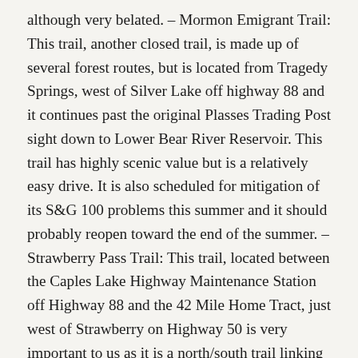although very belated. – Mormon Emigrant Trail: This trail, another closed trail, is made up of several forest routes, but is located from Tragedy Springs, west of Silver Lake off highway 88 and it continues past the original Plasses Trading Post sight down to Lower Bear River Reservoir. This trail has highly scenic value but is a relatively easy drive. It is also scheduled for mitigation of its S&G 100 problems this summer and it should probably reopen toward the end of the summer. – Strawberry Pass Trail: This trail, located between the Caples Lake Highway Maintenance Station off Highway 88 and the 42 Mile Home Tract, just west of Strawberry on Highway 50 is very important to us as it is a north/south trail linking these two highways. The ENF SOPA has it scheduled for mitigation of its S&G 100 problems in 2017. o NEVADA COMMISSION ON OFF HIGHWAY VEHICLES: At long last, the NCOHV will meet on this coming Thursday, January 14th, and review of the grant applications and possible granting of the